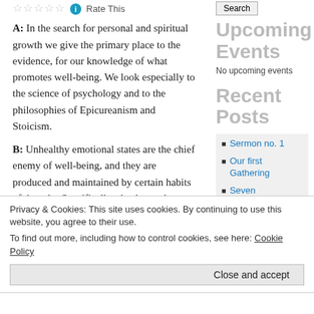Search
Rate This
A: In the search for personal and spiritual growth we give the primary place to the evidence, for our knowledge of what promotes well-being. We look especially to the science of psychology and to the philosophies of Epicureanism and Stoicism.
Upcoming Events
No upcoming events
Recent Posts
Sermon no. 1
Our first Gathering
Seven Sacraments of an Atheist Church.
B: Unhealthy emotional states are the chief enemy of well-being, and they are produced and maintained by certain habits of thought. Specifically, absolute value
Privacy & Cookies: This site uses cookies. By continuing to use this website, you agree to their use.
To find out more, including how to control cookies, see here: Cookie Policy
Close and accept